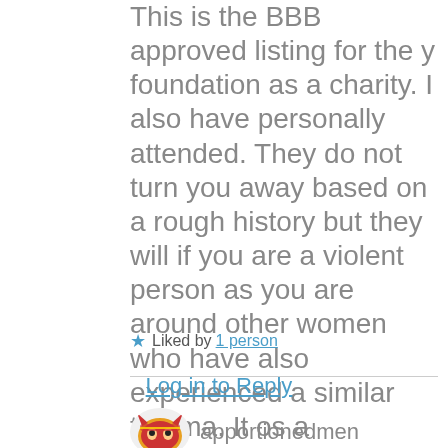This is the BBB approved listing for the y foundation as a charity. I also have personally attended. They do not turn you away based on a rough history but they will if you are a violent person as you are around other women who have also experienced a similar trauma. It os a wonderful place for healing and was more effecfive than the many years of outpaitent therapy I have been through.
★ Liked by 1 person
Log in to Reply
apportionedmen